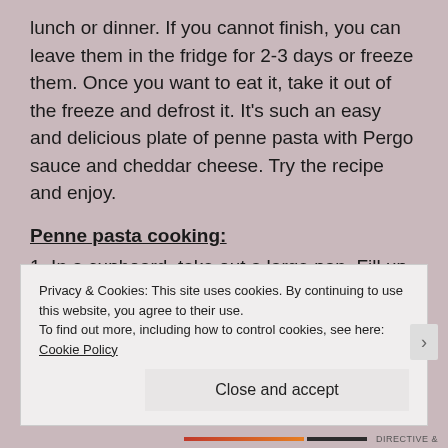lunch or dinner. If you cannot finish, you can leave them in the fridge for 2-3 days or freeze them. Once you want to eat it, take it out of the freeze and defrost it. It’s such an easy and delicious plate of penne pasta with Pergo sauce and cheddar cheese. Try the recipe and enjoy.
Penne pasta cooking:
1. In a cupboard, take out a large pan. Fill up the pan with cold water.
2. Turn on the stove to high heat.
3. Sprinkle a bit of salt in the water and stir to mix.
4. Put the lid on the large pan, and wait until the water starts boiling,
Privacy & Cookies: This site uses cookies. By continuing to use this website, you agree to their use. To find out more, including how to control cookies, see here: Cookie Policy
Close and accept